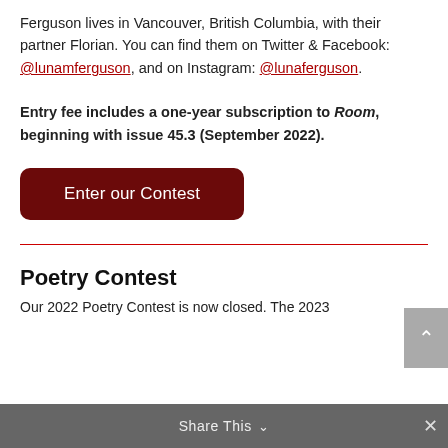Ferguson lives in Vancouver, British Columbia, with their partner Florian. You can find them on Twitter & Facebook: @lunamferguson, and on Instagram: @lunaferguson.
Entry fee includes a one-year subscription to Room, beginning with issue 45.3 (September 2022).
[Figure (other): Dark red rounded button with white text 'Enter our Contest']
Poetry Contest
Our 2022 Poetry Contest is now closed. The 2023
Share This ×